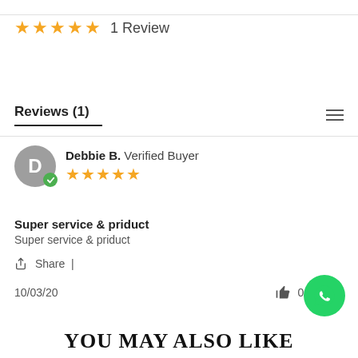[Figure (other): Five gold stars rating with '1 Review' text]
Reviews (1)
[Figure (other): Reviewer avatar circle with letter D and green verified checkmark badge, five gold stars, reviewer name Debbie B. Verified Buyer]
Super service & priduct
Super service & priduct
Share  |
10/03/20
0  0
[Figure (other): Green WhatsApp floating action button]
YOU MAY ALSO LIKE